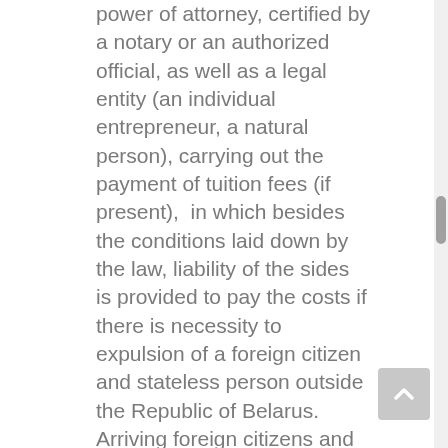power of attorney, certified by a notary or an authorized official, as well as a legal entity (an individual entrepreneur, a natural person), carrying out the payment of tuition fees (if present),  in which besides the conditions laid down by the law, liability of the sides is provided to pay the costs if there is necessity to expulsion of a foreign citizen and stateless person outside the Republic of Belarus. Arriving foreign citizens and stateless persons to study in full-time (day) form of secondary special education, are enrolled in the EI"Brest State Medical College" after the passage in the territorial health organizations defined by the EI “Brest State Medical College”by agreement with the Governance of Health of Brest regional executive committee, mandatory